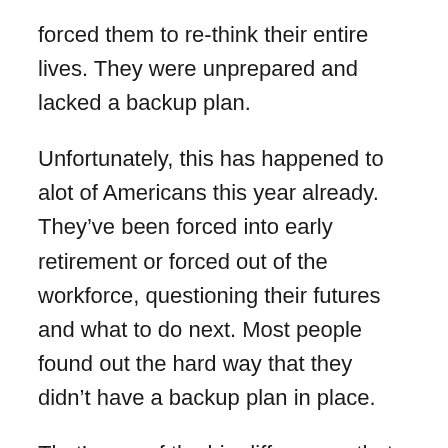forced them to re-think their entire lives. They were unprepared and lacked a backup plan.
Unfortunately, this has happened to alot of Americans this year already. They’ve been forced into early retirement or forced out of the workforce, questioning their futures and what to do next. Most people found out the hard way that they didn’t have a backup plan in place.
That’s one of the big differences that we see with the ultra successful. They are passionate about what they do, their jobs give them fulfillment, and they plan for those “What-Ifs” in